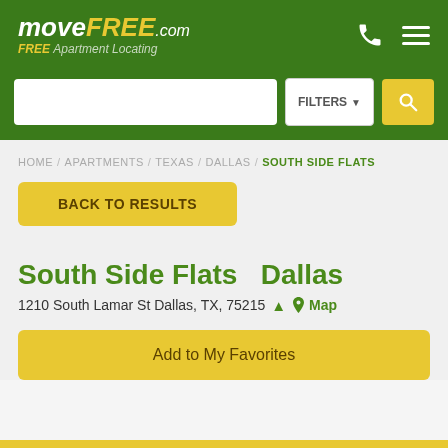moveFORFREE.com — FREE Apartment Locating
HOME / APARTMENTS / TEXAS / DALLAS / SOUTH SIDE FLATS
BACK TO RESULTS
South Side Flats   Dallas
1210 South Lamar St Dallas, TX, 75215   Map
Add to My Favorites